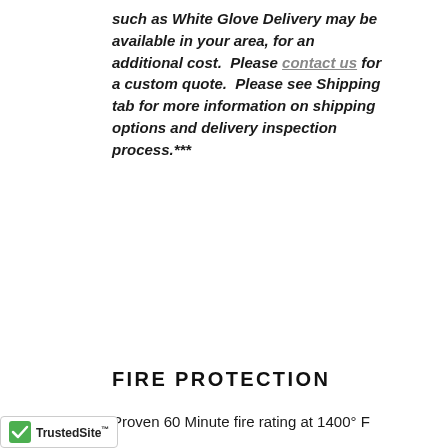such as White Glove Delivery may be available in your area, for an additional cost. Please contact us for a custom quote. Please see Shipping tab for more information on shipping options and delivery inspection process.***
FIRE PROTECTION
Proven 60 Minute fire rating at 1400° F
Palusol® Heat expanding door seal expands to over 6x its size when subjected to heat, creating a barrier against heat and smoke
UL® rated fireboard protection in the ceiling, walls and door
External solid steel strap hinges allow full fire protection and remove vulnerability of internal hinges, which require holes and weak points in the door